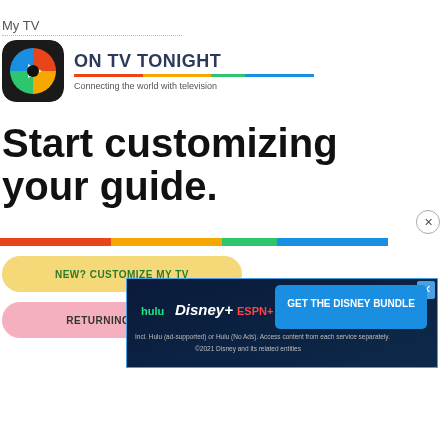My TV
[Figure (logo): On TV Tonight app logo with colorful swirl icon and text 'ON TV TONIGHT' with tagline 'Connecting the world with television']
Start customizing your guide.
NEW? CUSTOMIZE MY TV
RETURNING? LOG IN
[Figure (screenshot): Disney Bundle advertisement banner showing Hulu, Disney+, ESPN+ logos with text 'GET THE DISNEY BUNDLE' and fine print about access from each service separately]